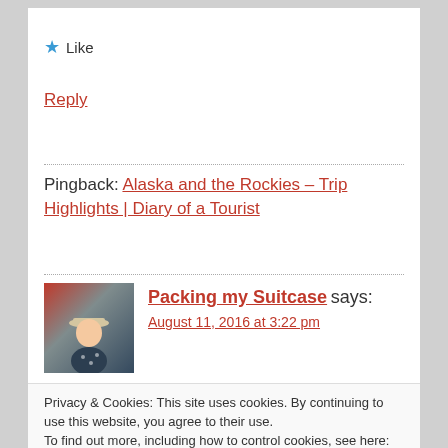★ Like
Reply
Pingback: Alaska and the Rockies – Trip Highlights | Diary of a Tourist
Packing my Suitcase says:
August 11, 2016 at 3:22 pm
Privacy & Cookies: This site uses cookies. By continuing to use this website, you agree to their use. To find out more, including how to control cookies, see here: Our Cookie Policy
Close and accept
The bears, oh my, they are so beautiful! 🙂